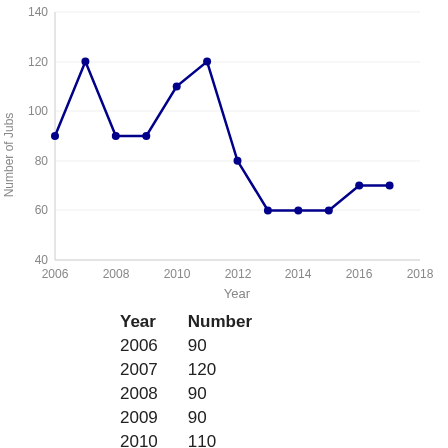[Figure (line-chart): ]
| Year | Number |
| --- | --- |
| 2006 | 90 |
| 2007 | 120 |
| 2008 | 90 |
| 2009 | 90 |
| 2010 | 110 |
| 2011 | 120 |
| 2012 | 80 |
| 2013 | 60 |
| 2014 | 60 |
| 2015 | 60 |
| 2016 | 70 |